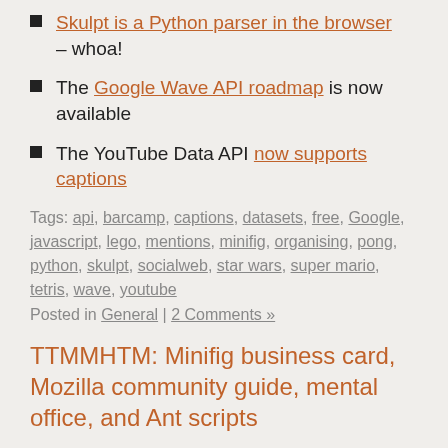Skulpt is a Python parser in the browser – whoa!
The Google Wave API roadmap is now available
The YouTube Data API now supports captions
Tags: api, barcamp, captions, datasets, free, Google, javascript, lego, mentions, minifig, organising, pong, python, skulpt, socialweb, star wars, super mario, tetris, wave, youtube
Posted in General | 2 Comments »
TTMMHTM: Minifig business card, Mozilla community guide, mental office, and Ant scripts